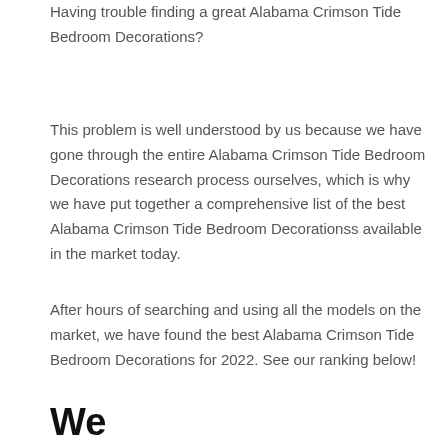Having trouble finding a great Alabama Crimson Tide Bedroom Decorations?
This problem is well understood by us because we have gone through the entire Alabama Crimson Tide Bedroom Decorations research process ourselves, which is why we have put together a comprehensive list of the best Alabama Crimson Tide Bedroom Decorationss available in the market today.
After hours of searching and using all the models on the market, we have found the best Alabama Crimson Tide Bedroom Decorations for 2022. See our ranking below!
We Recommended: